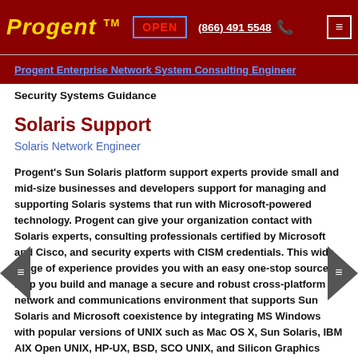Progent™  OPEN  (866) 491 5548  ☎  ☰
Progent Enterprise Network System Consulting Engineer
Security Systems Guidance
Solaris Support
Solaris Network Engineer
Progent's Sun Solaris platform support experts provide small and mid-size businesses and developers support for managing and supporting Solaris systems that run with Microsoft-powered technology. Progent can give your organization contact with Solaris experts, consulting professionals certified by Microsoft and Cisco, and security experts with CISM credentials. This wide range of experience provides you with an easy one-stop source to help you build and manage a secure and robust cross-platform network and communications environment that supports Sun Solaris and Microsoft coexistence by integrating MS Windows with popular versions of UNIX such as Mac OS X, Sun Solaris, IBM AIX Open UNIX, HP-UX, BSD, SCO UNIX, and Silicon Graphics